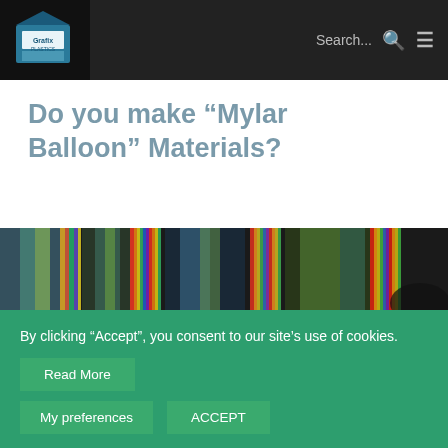Search... [search icon] [menu icon]
Do you make “Mylar Balloon” Materials?
[Figure (photo): Close-up photograph of holographic/metallic plastic film sheets stacked at an angle, showing iridescent rainbow colors and reflective surfaces.]
By clicking “Accept”, you consent to our site’s use of cookies.
Read More
My preferences
ACCEPT